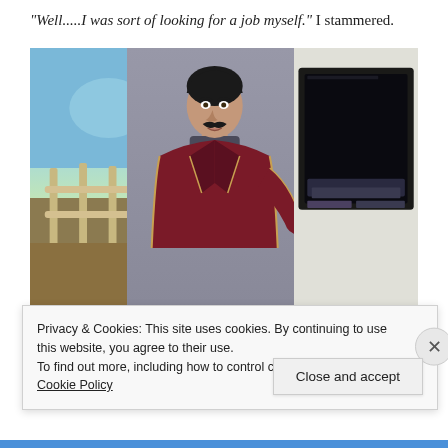"Well.....I was sort of looking for a job myself." I stammered.
[Figure (screenshot): Screenshot from The Sims game showing a male character with black hair and mustache wearing a dark red/maroon blazer with gold trim, standing in what appears to be an indoor scene with an outdoor view on the left and a dark framed picture on the right.]
Privacy & Cookies: This site uses cookies. By continuing to use this website, you agree to their use.
To find out more, including how to control cookies, see here: Cookie Policy